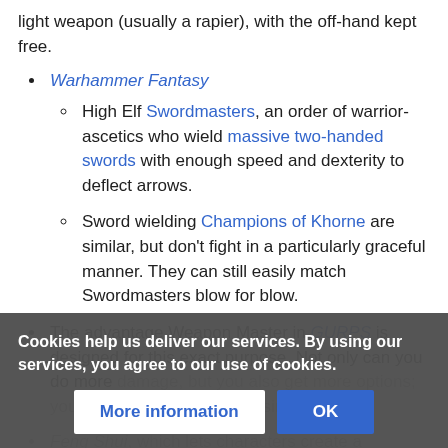light weapon (usually a rapier), with the off-hand kept free.
Warhammer Fantasy
High Elf Swordmasters, an order of warrior-ascetics who wield massive two-handed swords with enough speed and dexterity to deflect arrows.
Sword wielding Champions of Khorne are similar, but don't fight in a particularly graceful manner. They can still easily match Swordmasters blow for blow.
The advantage Weapon Master in GURPS is designed for this exact purpose. Not only can you do more damage, but you also get more options; you can also parry anything similar to it.
Feng Shui, which lets characters create a characteristic. The Archer Charm for...
Cookies help us deliver our services. By using our services, you agree to our use of cookies.